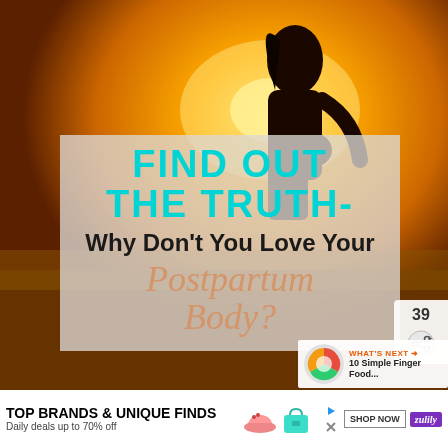[Figure (photo): Silhouette of a pregnant woman against a warm golden sunset/sunrise background with golden field.]
FIND OUT THE TRUTH- Why Don't You Love Your Postpartum Body?
[Figure (infographic): Side panel showing share count 39 and share icon button, plus 'What's Next' thumbnail panel showing '10 Simple Finger Food...']
[Figure (infographic): Advertisement bar at bottom: TOP BRANDS & UNIQUE FINDS - Daily deals up to 70% off - zulily SHOP NOW]